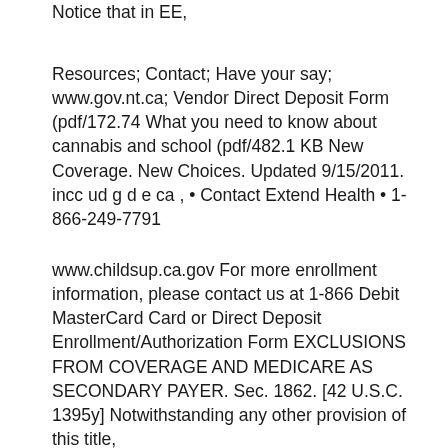Notice that in EE,
Resources; Contact; Have your say; www.gov.nt.ca; Vendor Direct Deposit Form (pdf/172.74 What you need to know about cannabis and school (pdf/482.1 KB New Coverage. New Choices. Updated 9/15/2011. incc ud g d e ca , • Contact Extend Health • 1-866-249-7791
www.childsup.ca.gov For more enrollment information, please contact us at 1-866 Debit MasterCard Card or Direct Deposit Enrollment/Authorization Form EXCLUSIONS FROM COVERAGE AND MEDICARE AS SECONDARY PAYER. Sec. 1862. [42 U.S.C. 1395y] Notwithstanding any other provision of this title,